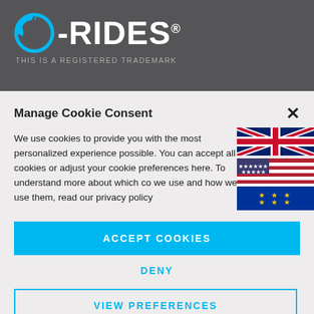[Figure (logo): e-RIDES registered trademark logo with cyan circular arrow icon and white text on dark gray background]
THIS IS A REGISTERED TRADEMARK
Manage Cookie Consent
We use cookies to provide you with the most personalized experience possible. You can accept all cookies or adjust your cookie preferences here. To understand more about which co we use and how we use them, read our privacy policy
[Figure (illustration): Three country flags stacked vertically: UK flag, US flag, EU flag]
ACCEPT COOKIES
DENY
VIEW PREFERENCES